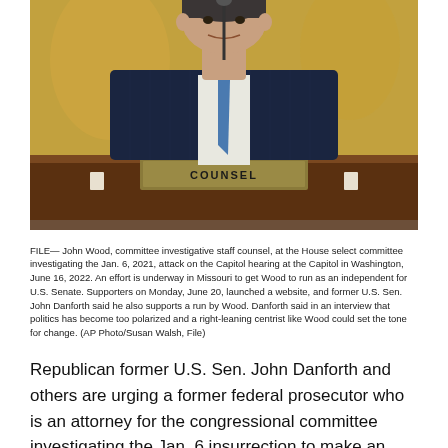[Figure (photo): A man in a dark pinstripe suit sitting at a hearing desk with a nameplate reading 'COUNSEL', speaking at a microphone. The setting appears to be a congressional hearing room.]
FILE— John Wood, committee investigative staff counsel, at the House select committee investigating the Jan. 6, 2021, attack on the Capitol hearing at the Capitol in Washington, June 16, 2022. An effort is underway in Missouri to get Wood to run as an independent for U.S. Senate. Supporters on Monday, June 20, launched a website, and former U.S. Sen. John Danforth said he also supports a run by Wood. Danforth said in an interview that politics has become too polarized and a right-leaning centrist like Wood could set the tone for change. (AP Photo/Susan Walsh, File)
Republican former U.S. Sen. John Danforth and others are urging a former federal prosecutor who is an attorney for the congressional committee investigating the Jan. 6 insurrection to make an independent run for Missouri's open Senate seat.